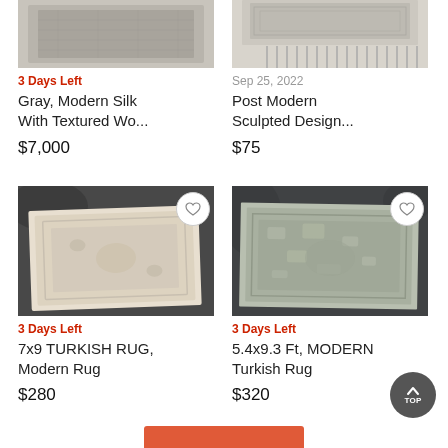[Figure (photo): Partial top view of a gray modern silk rug with textured design]
3 Days Left
Gray, Modern Silk With Textured Wo...
$7,000
[Figure (photo): Partial top view of a post modern sculpted design rug with fringe]
Sep 25, 2022
Post Modern Sculpted Design...
$75
[Figure (photo): 7x9 Turkish modern rug in cream/beige tones on dark background]
3 Days Left
7x9 TURKISH RUG, Modern Rug
$280
[Figure (photo): 5.4x9.3 Ft Modern Turkish rug in gray/green tones on dark background]
3 Days Left
5.4x9.3 Ft, MODERN Turkish Rug
$320